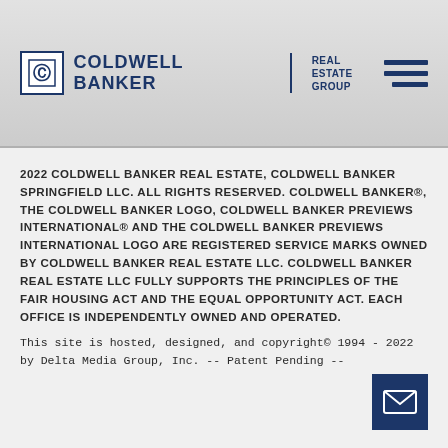[Figure (logo): Coldwell Banker Real Estate Group logo with CB icon, company name, and vertical divider]
[Figure (other): Hamburger menu icon with three dark blue horizontal lines]
2022 COLDWELL BANKER REAL ESTATE, COLDWELL BANKER SPRINGFIELD LLC. ALL RIGHTS RESERVED. COLDWELL BANKER®, THE COLDWELL BANKER LOGO, COLDWELL BANKER PREVIEWS INTERNATIONAL® AND THE COLDWELL BANKER PREVIEWS INTERNATIONAL LOGO ARE REGISTERED SERVICE MARKS OWNED BY COLDWELL BANKER REAL ESTATE LLC. COLDWELL BANKER REAL ESTATE LLC FULLY SUPPORTS THE PRINCIPLES OF THE FAIR HOUSING ACT AND THE EQUAL OPPORTUNITY ACT. EACH OFFICE IS INDEPENDENTLY OWNED AND OPERATED.
This site is hosted, designed, and copyright© 1994 - 2022 by Delta Media Group, Inc. -- Patent Pending --
[Figure (other): Email/envelope icon button in dark blue square]